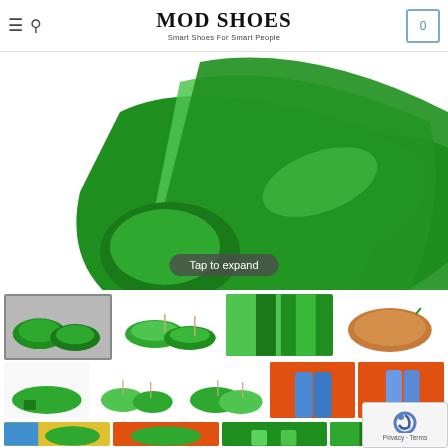MOD SHOES – Smart Shoes For Smart People
[Figure (photo): Close-up photo of green two-tone leather slingback shoes showing dark green and light green panels against a white background]
Tap to expand
[Figure (photo): Thumbnail grid of green mod shoes product photos: pair of green slip-on shoes on grey background, side view slingbacks, close-up of green panels, sole view, slingback heels front view, flat slingbacks pair, multicolor glitter boots on orange, more product thumbnails]